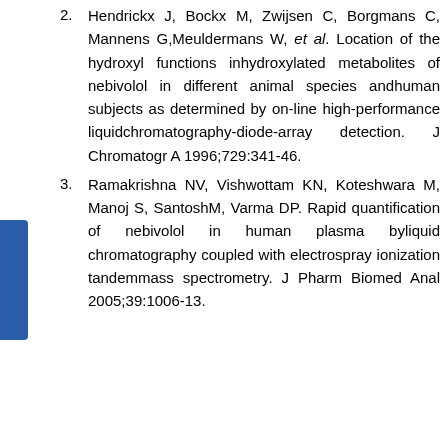Hendrickx J, Bockx M, Zwijsen C, Borgmans C, Mannens G, Meuldermans W, et al. Location of the hydroxyl functions inhydroxylated metabolites of nebivolol in different animal species andhuman subjects as determined by on-line high-performance liquidchromatography-diode-array detection. J Chromatogr A 1996;729:341-46.
Ramakrishna NV, Vishwottam KN, Koteshwara M, Manoj S, SantoshM, Varma DP. Rapid quantification of nebivolol in human plasma byliquid chromatography coupled with electrospray ionization tandemmass spectrometry. J Pharm Biomed Anal 2005;39:1006-13.